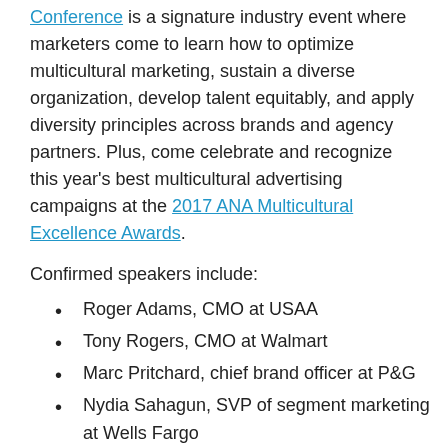Conference is a signature industry event where marketers come to learn how to optimize multicultural marketing, sustain a diverse organization, develop talent equitably, and apply diversity principles across brands and agency partners. Plus, come celebrate and recognize this year's best multicultural advertising campaigns at the 2017 ANA Multicultural Excellence Awards.
Confirmed speakers include:
Roger Adams, CMO at USAA
Tony Rogers, CMO at Walmart
Marc Pritchard, chief brand officer at P&G
Nydia Sahagun, SVP of segment marketing at Wells Fargo
Philip Polk VP of multicultural strategy at Hallmark
Diego Scotti, EVP and CMO at Verizon Communications